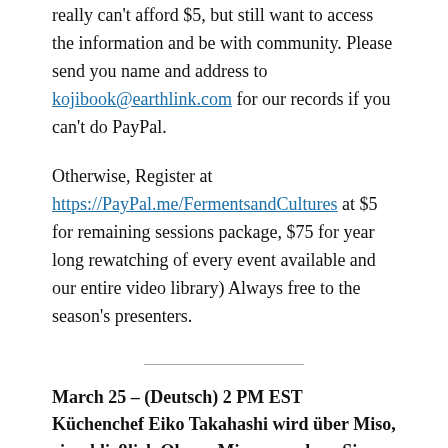really can't afford $5, but still want to access the information and be with community. Please send you name and address to kojibook@earthlink.com for our records if you can't do PayPal.
Otherwise, Register at https://PayPal.me/FermentsandCultures at $5 for remaining sessions package, $75 for year long rewatching of every event available and our entire video library) Always free to the season's presenters.
March 25 – (Deutsch) 2 PM EST Küchenchef Eiko Takahashi wird über Miso, einschließlich Okazu-Miso, sprechen. Sie wird den Unterschied zwischen traditionellen Miso-Sorten und den Unterschied zwischen Okazu-Miso-Sorten